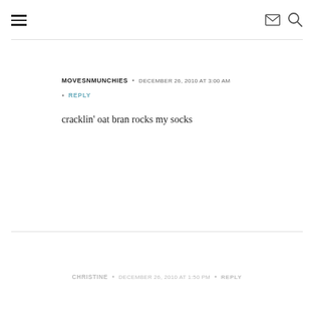≡  [mail icon] [search icon]
MOVESNMUNCHIES • DECEMBER 26, 2010 AT 3:00 AM
• REPLY
cracklin' oat bran rocks my socks
CHRISTINE • DECEMBER 26, 2010 AT 1:50 PM • REPLY